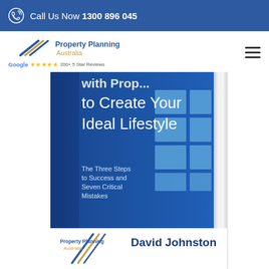Call Us Now 1300 896 045
[Figure (logo): Property Planning Australia logo with stylized lines and Google 5 star reviews badge]
[Figure (photo): Book cover showing 'with Prop... to Create Your Ideal Lifestyle – The Three Steps to Success and Seven Critical Mistakes' by David Johnston, Property Planning Australia. Blue cover with window grid decoration.]